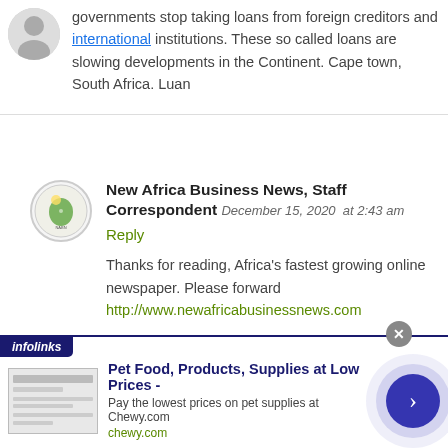governments stop taking loans from foreign creditors and international institutions. These so called loans are slowing developments in the Continent. Cape town, South Africa. Luan
New Africa Business News, Staff Correspondent December 15, 2020 at 2:43 am
Reply
Thanks for reading, Africa's fastest growing online newspaper. Please forward http://www.newafricabusinessnews.com
[Figure (other): Advertisement banner: Pet Food, Products, Supplies at Low Prices - chewy.com, with infolinks label]